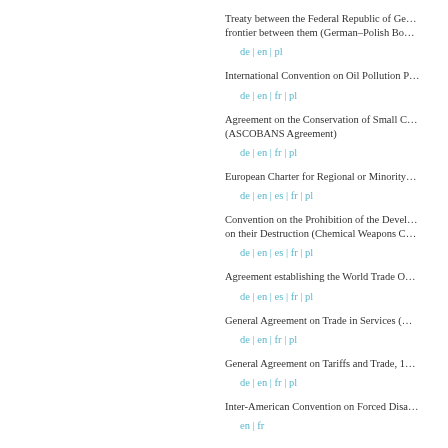Treaty between the Federal Republic of Germany and Poland confirming the frontier between them (German–Polish Border Treaty)
de | en | pl
International Convention on Oil Pollution Preparedness, Response and Co-operation
de | en | fr | pl
Agreement on the Conservation of Small Cetaceans of the Baltic and North Seas (ASCOBANS Agreement)
de | en | fr | pl
European Charter for Regional or Minority Languages
de | en | es | fr | pl
Convention on the Prohibition of the Development, Production, Stockpiling and Use of Chemical Weapons and on their Destruction (Chemical Weapons Convention)
de | en | es | fr | pl
Agreement establishing the World Trade Organization
de | en | es | fr | pl
General Agreement on Trade in Services (GATS)
de | en | fr | pl
General Agreement on Tariffs and Trade, 1994
de | en | fr | pl
Inter-American Convention on Forced Disappearance of Persons
en | fr